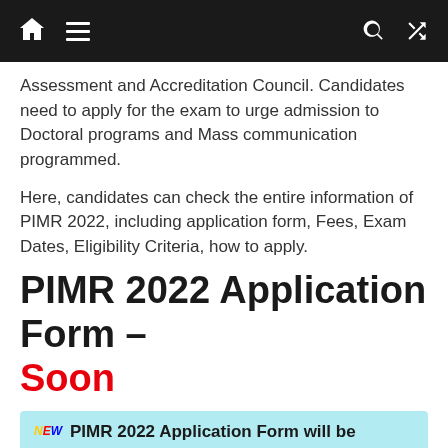Navigation bar with home, menu, search, and shuffle icons
Assessment and Accreditation Council. Candidates need to apply for the exam to urge admission to Doctoral programs and Mass communication programmed.
Here, candidates can check the entire information of PIMR 2022, including application form, Fees, Exam Dates, Eligibility Criteria, how to apply.
PIMR 2022 Application Form – Soon
NEW PIMR 2022 Application Form will be